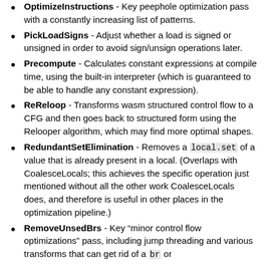OptimizeInstructions - Key peephole optimization pass with a constantly increasing list of patterns.
PickLoadSigns - Adjust whether a load is signed or unsigned in order to avoid sign/unsign operations later.
Precompute - Calculates constant expressions at compile time, using the built-in interpreter (which is guaranteed to be able to handle any constant expression).
ReReloop - Transforms wasm structured control flow to a CFG and then goes back to structured form using the Relooper algorithm, which may find more optimal shapes.
RedundantSetElimination - Removes a local.set of a value that is already present in a local. (Overlaps with CoalesceLocals; this achieves the specific operation just mentioned without all the other work CoalesceLocals does, and therefore is useful in other places in the optimization pipeline.)
RemoveUnsedBrs - Key “minor control flow optimizations” pass, including jump threading and various transforms that can get rid of a br or